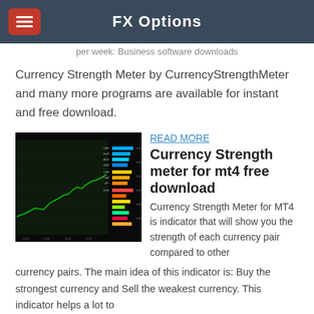FX Options
per week: Business software downloads
Currency Strength Meter by CurrencyStrengthMeter and many more programs are available for instant and free download.
[Figure (screenshot): Screenshot of a currency strength meter MT4 indicator showing a trading chart with colored horizontal bars representing currency pair strengths]
READ MORE
Currency Strength meter for mt4 free download
Currency Strength Meter for MT4 is indicator that will show you the strength of each currency pair compared to other currency pairs. The main idea of this indicator is: Buy the strongest currency and Sell the weakest currency. This indicator helps a lot to
...
READ MORE
Currency Strength Meter - Forex Blog